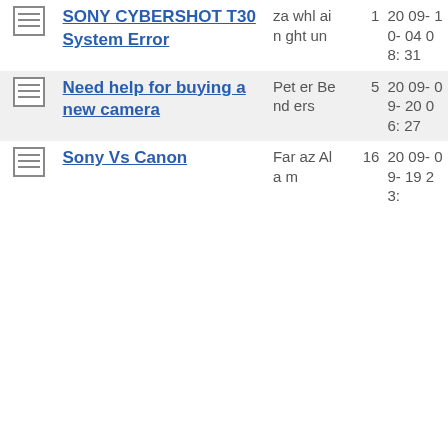|  | Title | Author | Replies | Date |
| --- | --- | --- | --- | --- |
| [icon] | SONY CYBERSHOT T30 System Error | zawhlainght un | 1 | 2009-10-04 08:31 |
| [icon] | Need help for buying a new camera | Peter Benders | 5 | 2009-09-20 06:27 |
| [icon] | Sony Vs Canon | Faraz Alam | 16 | 2009-09-19 23: |